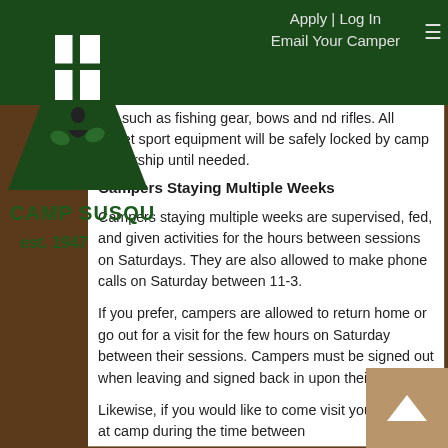Apply | Log In  Email Your Camper
[Figure (logo): Camp Susque logo: green triangle with cross and figure, text 'Camp Susque est. 1947']
ent such as fishing gear, bows and nd rifles. All target sport equipment will be safely locked by camp leadership until needed.
Campers Staying Multiple Weeks
Campers staying multiple weeks are supervised, fed, and given activities for the hours between sessions on Saturdays. They are also allowed to make phone calls on Saturday between 11-3.
If you prefer, campers are allowed to return home or go out for a visit for the few hours on Saturday between their sessions. Campers must be signed out when leaving and signed back in upon their return.
Likewise, if you would like to come visit your camper at camp during the time between